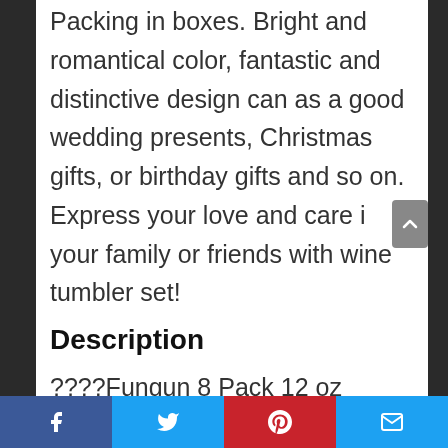Packing in boxes. Bright and romantical color, fantastic and distinctive design can as a good wedding presents, Christmas gifts, or birthday gifts and so on. Express your love and care i your family or friends with wine tumbler set!
Description
????Fungun 8 Pack 12 oz Insulated Stemless wine tumbler with straws and brush, stainless steel wine glass with lids, for wine, coffee, drinks, beer, cocoa, cocktails and...